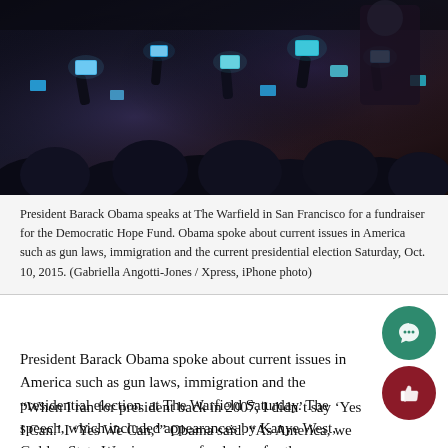[Figure (photo): Crowd of people photographing with smartphones at a dark event, appears to be an auditorium or venue]
President Barack Obama speaks at The Warfield in San Francisco for a fundraiser for the Democratic Hope Fund. Obama spoke about current issues in America such as gun laws, immigration and the current presidential election Saturday, Oct. 10, 2015. (Gabriella Angotti-Jones / Xpress, iPhone photo)
President Barack Obama spoke about current issues in America such as gun laws, immigration and the presidential election at The Warfield Saturday. The speech, which included appearances by Kanye West, Golden State Warriors, was a fundraiser for the Democratic Hope F
“When I ran for president back in 2007, I didn’t say ‘Yes I Can.’ I ‘Yes We Can,’” Obama said. “As America, we need to work togethe